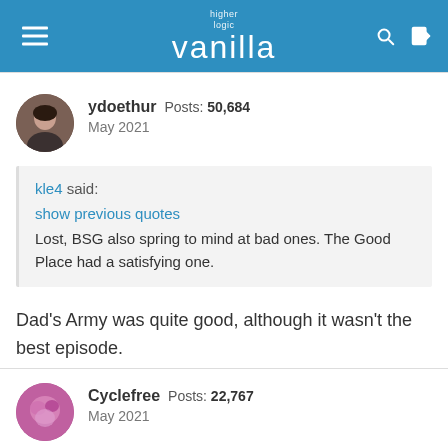higher logic vanilla
ydoethur Posts: 50,684
May 2021
kle4 said:
show previous quotes
Lost, BSG also spring to mind at bad ones. The Good Place had a satisfying one.
Dad's Army was quite good, although it wasn't the best episode.
Cyclefree Posts: 22,767
May 2021